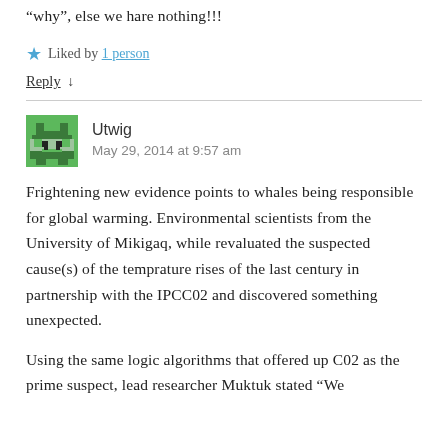“why”, else we hare nothing!!!
★ Liked by 1 person
Reply ↓
Utwig
May 29, 2014 at 9:57 am
Frightening new evidence points to whales being responsible for global warming. Environmental scientists from the University of Mikigaq, while revaluated the suspected cause(s) of the temprature rises of the last century in partnership with the IPCC02 and discovered something unexpected.
Using the same logic algorithms that offered up CO2 as the prime suspect, lead researcher Muktuk stated "We